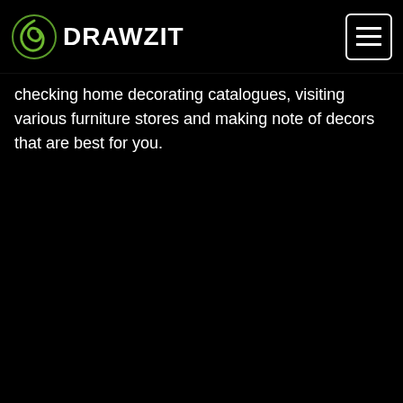DRAWZIT
checking home decorating catalogues, visiting various furniture stores and making note of decors that are best for you.